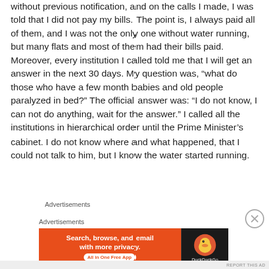without previous notification, and on the calls I made, I was told that I did not pay my bills. The point is, I always paid all of them, and I was not the only one without water running, but many flats and most of them had their bills paid. Moreover, every institution I called told me that I will get an answer in the next 30 days. My question was, “what do those who have a few month babies and old people paralyzed in bed?” The official answer was: “I do not know, I can not do anything, wait for the answer.” I called all the institutions in hierarchical order until the Prime Minister’s cabinet. I do not know where and what happened, that I could not talk to him, but I know the water started running.
Advertisements
Advertisements
[Figure (other): DuckDuckGo advertisement banner: orange left panel with text 'Search, browse, and email with more privacy. All in One Free App' and dark right panel with DuckDuckGo duck logo and brand name.]